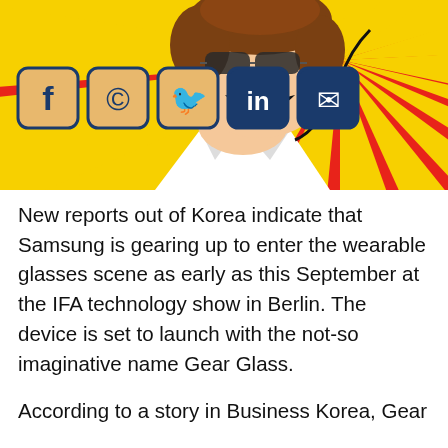[Figure (illustration): Anime-style cartoon character shouting with mouth open wide, wearing sunglasses pushed up, with a red and yellow sunburst/starburst background. Social media icons (Facebook, WhatsApp, Twitter, LinkedIn, Email) are shown in blue/dark blue rounded square buttons overlaid on the top-left of the image.]
New reports out of Korea indicate that Samsung is gearing up to enter the wearable glasses scene as early as this September at the IFA technology show in Berlin. The device is set to launch with the not-so imaginative name Gear Glass.
According to a story in Business Korea, Gear